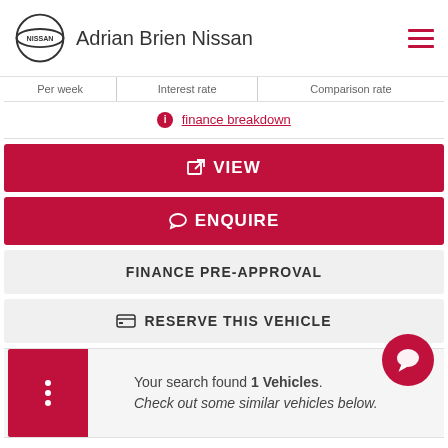Adrian Brien Nissan
| Per week | Interest rate | Comparison rate |
| --- | --- | --- |
finance breakdown
VIEW
ENQUIRE
FINANCE PRE-APPROVAL
RESERVE THIS VEHICLE
Your search found 1 Vehicles. Check out some similar vehicles below.
You might also be interested in ...